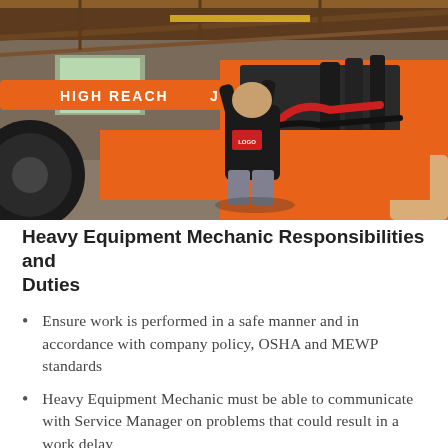[Figure (photo): A mechanic in a black t-shirt works on a large orange JLG high reach piece of heavy equipment inside a warehouse/service bay. The machine has visible engine components, hoses, and pipes. Text on the boom reads 'HIGH REACH JLG ULTRA'.]
Heavy Equipment Mechanic Responsibilities and Duties
Ensure work is performed in a safe manner and in accordance with company policy, OSHA and MEWP standards
Heavy Equipment Mechanic must be able to communicate with Service Manager on problems that could result in a work delay